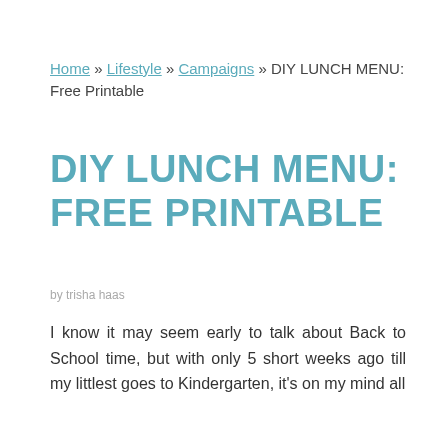Home » Lifestyle » Campaigns » DIY LUNCH MENU: Free Printable
DIY LUNCH MENU: FREE PRINTABLE
by trisha haas
I know it may seem early to talk about Back to School time, but with only 5 short weeks ago till my littlest goes to Kindergarten, it's on my mind all